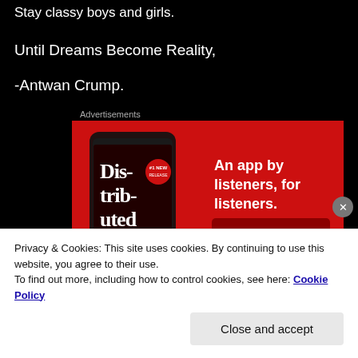Stay classy boys and girls.
Until Dreams Become Reality,
-Antwan Crump.
Advertisements
[Figure (infographic): Red advertisement banner for a podcast app showing a smartphone with 'Distributed' text on screen, bold white text reading 'An app by listeners, for listeners.' and a dark red 'Download now' button]
Privacy & Cookies: This site uses cookies. By continuing to use this website, you agree to their use.
To find out more, including how to control cookies, see here: Cookie Policy
Close and accept